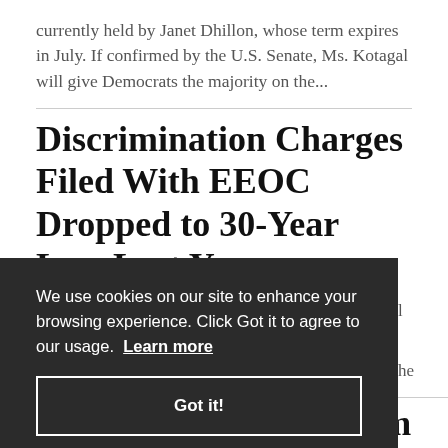currently held by Janet Dhillon, whose term expires in July. If confirmed by the U.S. Senate, Ms. Kotagal will give Democrats the majority on the...
Discrimination Charges Filed With EEOC Dropped to 30-Year Low Last Year
We use cookies on our site to enhance your browsing experience. Click Got it to agree to our usage. Learn more
Got it!